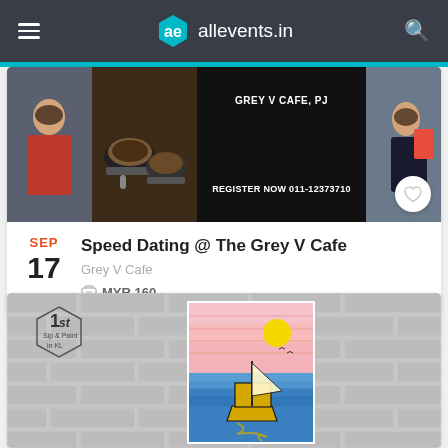allevents.in
[Figure (screenshot): Speed Dating event banner showing cafe images and text GREY V CAFE, PJ and REGISTER NOW 011-12373710]
SEP
17
Speed Dating @ The Grey V Cafe
Grey V Cafe
MYR 160
[Figure (photo): 1st Sip & Paint in KL event banner showing a painting of a yellow sailboat on ocean with sunset sky and brick wall background]